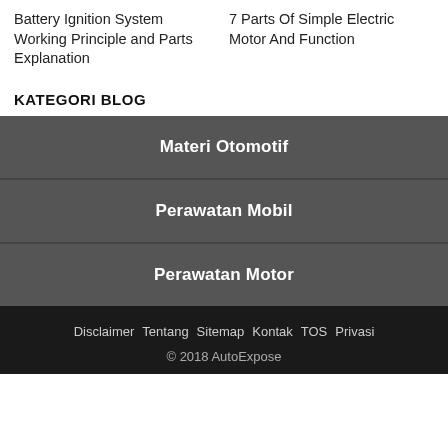Battery Ignition System Working Principle and Parts Explanation
7 Parts Of Simple Electric Motor And Function
KATEGORI BLOG
Materi Otomotif
Perawatan Mobil
Perawatan Motor
Disclaimer  Tentang  Sitemap  Kontak  TOS  Privasi
© 2018 AutoExpose